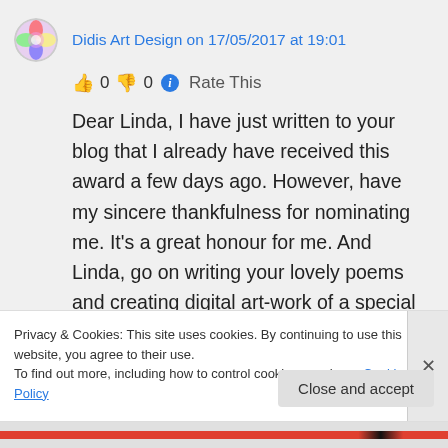Didis Art Design on 17/05/2017 at 19:01
👍 0 👎 0 ℹ Rate This
Dear Linda, I have just written to your blog that I already have received this award a few days ago. However, have my sincere thankfulness for nominating me. It's a great honour for me. And Linda, go on writing your lovely poems and creating digital art-work of a special kind. Thank you so much
Privacy & Cookies: This site uses cookies. By continuing to use this website, you agree to their use.
To find out more, including how to control cookies, see here: Cookie Policy
Close and accept